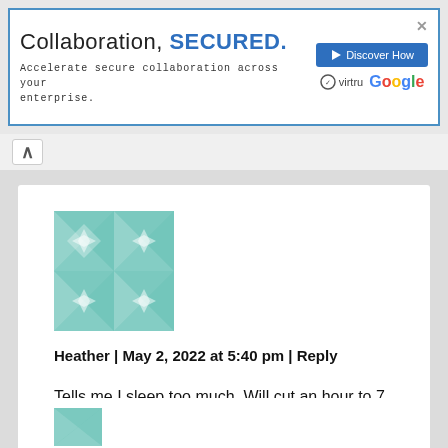[Figure (screenshot): Advertisement banner for collaboration security product. Text reads 'Collaboration, SECURED.' with subtitle 'Accelerate secure collaboration across your enterprise.' with Virtru and Google logos and a 'Discover How' button.]
Heather | May 2, 2022 at 5:40 pm | Reply
Tells me I sleep too much. Will cut an hour to 7 thanks. I watched my mum with Alzheimers and I want to prevent it if I can.